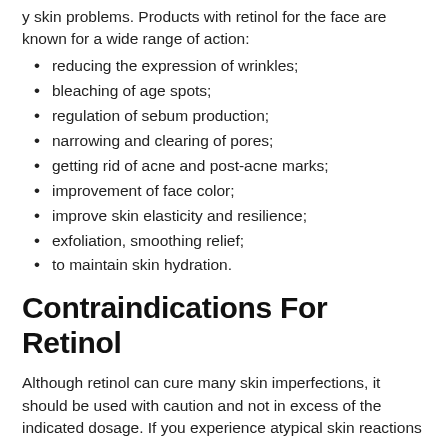y skin problems. Products with retinol for the face are known for a wide range of action:
reducing the expression of wrinkles;
bleaching of age spots;
regulation of sebum production;
narrowing and clearing of pores;
getting rid of acne and post-acne marks;
improvement of face color;
improve skin elasticity and resilience;
exfoliation, smoothing relief;
to maintain skin hydration.
Contraindications For Retinol
Although retinol can cure many skin imperfections, it should be used with caution and not in excess of the indicated dosage. If you experience atypical skin reactions to retinol on the face, you should discontinue use.